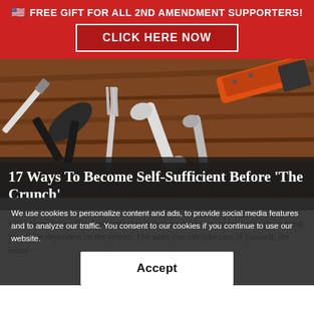🇺🇸 FREE GIFT FOR ALL 2ND AMENDMENT SUPPORTERS!
CLICK HERE NOW
[Figure (photo): Overhead photo of various hand tools (pliers, wrenches, box cutter, screwdrivers) laid out on a wooden surface]
17 Ways To Become Self-Sufficient Before 'The Crunch'
Click Here To See The Comments One thing you don't want to be during the coming 'crunch' is dependent on the system. The more you can take care of yourself, the better
We use cookies to personalize content and ads, to provide social media features and to analyze our traffic. You consent to our cookies if you continue to use our website.
Accept